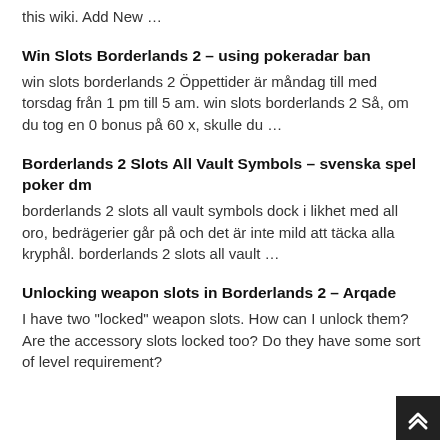this wiki. Add New …
Win Slots Borderlands 2 – using pokeradar ban
win slots borderlands 2 Öppettider är måndag till med torsdag från 1 pm till 5 am. win slots borderlands 2 Så, om du tog en 0 bonus på 60 x, skulle du …
Borderlands 2 Slots All Vault Symbols – svenska spel poker dm
borderlands 2 slots all vault symbols dock i likhet med all oro, bedrägerier går på och det är inte mild att täcka alla kryphål. borderlands 2 slots all vault …
Unlocking weapon slots in Borderlands 2 – Arqade
I have two "locked" weapon slots. How can I unlock them? Are the accessory slots locked too? Do they have some sort of level requirement?